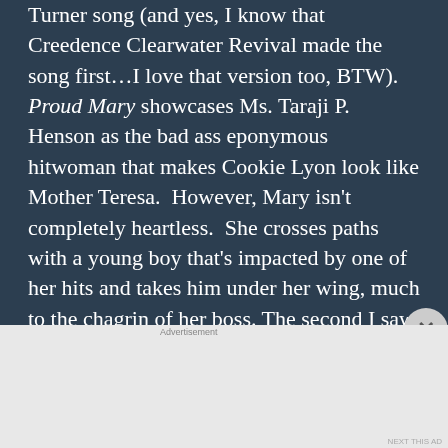Turner song (and yes, I know that Creedence Clearwater Revival made the song first…I love that version too, BTW). Proud Mary showcases Ms. Taraji P. Henson as the bad ass eponymous hitwoman that makes Cookie Lyon look like Mother Teresa. However, Mary isn't completely heartless. She crosses paths with a young boy that's impacted by one of her hits and takes him under her wing, much to the chagrin of her boss. The second I saw the trailer for this film last year, I knew I had to see it. It was full of action and it looked like tons of fun. I loved seeing
[Figure (other): DuckDuckGo advertisement banner. Orange background with white text: 'Search, browse, and email with more privacy.' and a white button 'All in One Free App'. On the right, a smartphone mockup showing the DuckDuckGo app icon and logo.]